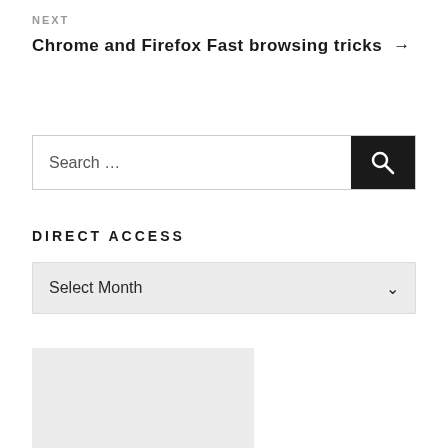NEXT
Chrome and Firefox Fast browsing tricks →
Search …
DIRECT ACCESS
Select Month
[Figure (other): Gray placeholder box]